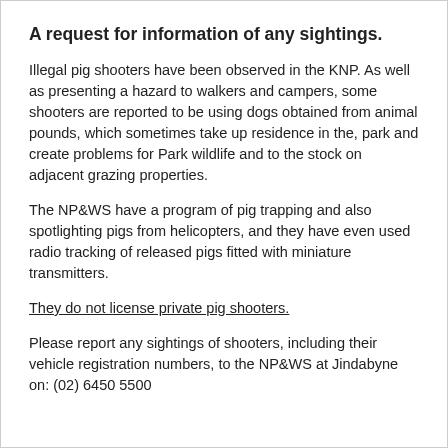A request for information of any sightings.
Illegal pig shooters have been observed in the KNP. As well as presenting a hazard to walkers and campers, some shooters are reported to be using dogs obtained from animal pounds, which sometimes take up residence in the, park and create problems for Park wildlife and to the stock on adjacent grazing properties.
The NP&WS have a program of pig trapping and also spotlighting pigs from helicopters, and they have even used radio tracking of released pigs fitted with miniature transmitters.
They do not license private pig shooters.
Please report any sightings of shooters, including their vehicle registration numbers, to the NP&WS at Jindabyne on: (02) 6450 5500